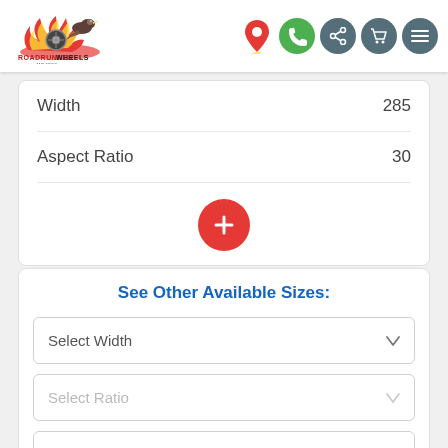[Figure (logo): Roadrunner Wheels and Tires logo with eagle and wheel graphic]
[Figure (infographic): Header navigation icons: location pin (red/yellow), phone (green circle), share (dark circle), cart (dark circle), menu (dark circle)]
| Width | 285 |
| Aspect Ratio | 30 |
[Figure (other): Red circular plus (+) button]
See Other Available Sizes:
Select Width
Select Ratio
Select Diameter (partially visible)